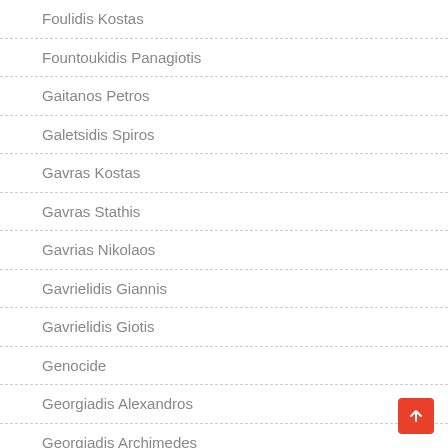Foulidis Kostas
Fountoukidis Panagiotis
Gaitanos Petros
Galetsidis Spiros
Gavras Kostas
Gavras Stathis
Gavrias Nikolaos
Gavrielidis Giannis
Gavrielidis Giotis
Genocide
Georgiadis Alexandros
Georgiadis Archimedes